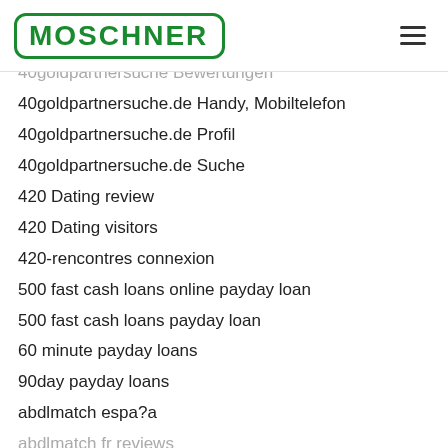MOSCHNER
40goldpartnersuche Bewertungen
40goldpartnersuche.de Handy, Mobiltelefon
40goldpartnersuche.de Profil
40goldpartnersuche.de Suche
420 Dating review
420 Dating visitors
420-rencontres connexion
500 fast cash loans online payday loan
500 fast cash loans payday loan
60 minute payday loans
90day payday loans
abdlmatch espa?a
abdlmatch fr reviews